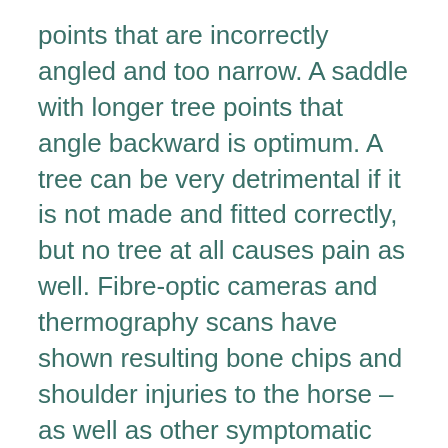points that are incorrectly angled and too narrow. A saddle with longer tree points that angle backward is optimum. A tree can be very detrimental if it is not made and fitted correctly, but no tree at all causes pain as well. Fibre-optic cameras and thermography scans have shown resulting bone chips and shoulder injuries to the horse – as well as other symptomatic issues.
Important is that the tree fits the horse both in length and over the withers. Treeless saddles (essentially bareback pads) may work for a while, especially if the horse has been ridden in a badly fitting treed saddle, but